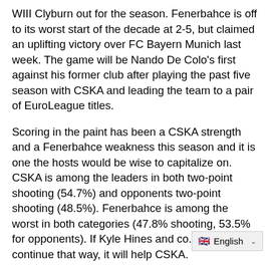Will Clyburn out for the season. Fenerbahce is off to its worst start of the decade at 2-5, but claimed an uplifting victory over FC Bayern Munich last week. The game will be Nando De Colo's first against his former club after playing the past five season with CSKA and leading the team to a pair of EuroLeague titles.
Scoring in the paint has been a CSKA strength and a Fenerbahce weakness this season and it is one the hosts would be wise to capitalize on. CSKA is among the leaders in both two-point shooting (54.7%) and opponents two-point shooting (48.5%). Fenerbahce is among the worst in both categories (47.8% shooting, 53.5% for opponents). If Kyle Hines and co. can continue that way, it will help CSKA.
Fenerbahce has been getting beaten on the boards and must put a stop to that, e... d game against CSKA (27.0 rpo.)... f